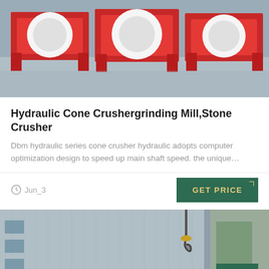[Figure (photo): Photo of industrial red machinery (cone crushers/grinding mills) on a factory floor with grey concrete background]
Hydraulic Cone Crushergrinding Mill,Stone Crusher
Dbm hydraulic series cone crusher hydraulic adopts computer optimization design to speed up main shaft speed. the unique…
Jun_3
GET PRICE
[Figure (photo): Photo of industrial machinery parts with a crane hook visible, colorful wheel/pulley components, and factory building in background]
Leave Message
Chat Online